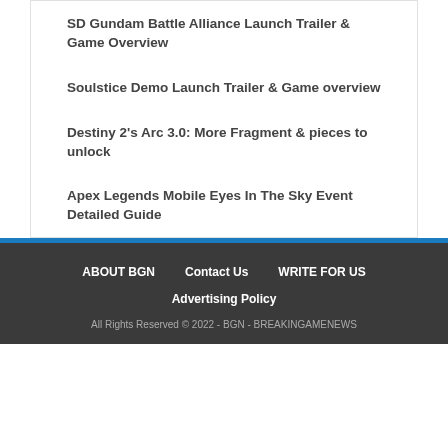SD Gundam Battle Alliance Launch Trailer & Game Overview
Soulstice Demo Launch Trailer & Game overview
Destiny 2's Arc 3.0: More Fragment & pieces to unlock
Apex Legends Mobile Eyes In The Sky Event Detailed Guide
ABOUT BGN | Contact Us | WRITE FOR US | Advertising Policy | All Rights Reserved © 2022 - BGN - BREAKINGAMENEWS